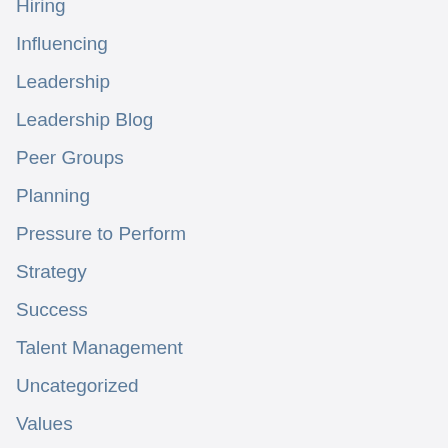Hiring
Influencing
Leadership
Leadership Blog
Peer Groups
Planning
Pressure to Perform
Strategy
Success
Talent Management
Uncategorized
Values
Women Leaders
Work Life Balance